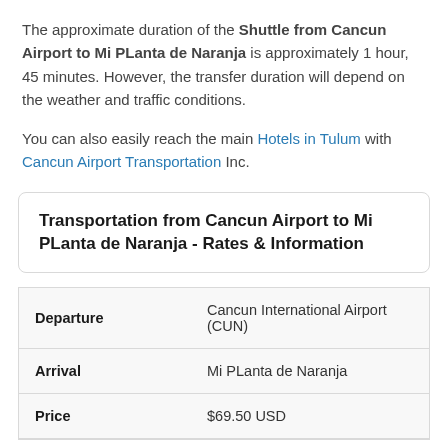The approximate duration of the Shuttle from Cancun Airport to Mi PLanta de Naranja is approximately 1 hour, 45 minutes. However, the transfer duration will depend on the weather and traffic conditions.
You can also easily reach the main Hotels in Tulum with Cancun Airport Transportation Inc.
Transportation from Cancun Airport to Mi PLanta de Naranja - Rates & Information
|  |  |
| --- | --- |
| Departure | Cancun International Airport (CUN) |
| Arrival | Mi PLanta de Naranja |
| Price | $69.50 USD |